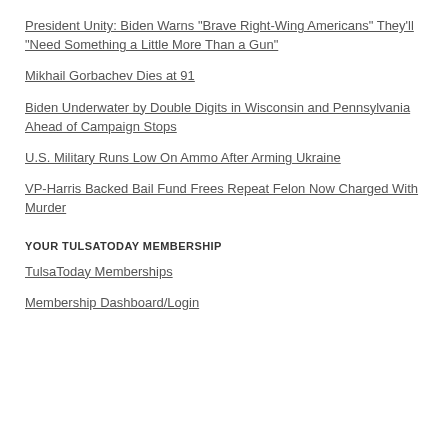President Unity: Biden Warns "Brave Right-Wing Americans" They'll "Need Something a Little More Than a Gun"
Mikhail Gorbachev Dies at 91
Biden Underwater by Double Digits in Wisconsin and Pennsylvania Ahead of Campaign Stops
U.S. Military Runs Low On Ammo After Arming Ukraine
VP-Harris Backed Bail Fund Frees Repeat Felon Now Charged With Murder
YOUR TULSATODAY MEMBERSHIP
TulsaToday Memberships
Membership Dashboard/Login